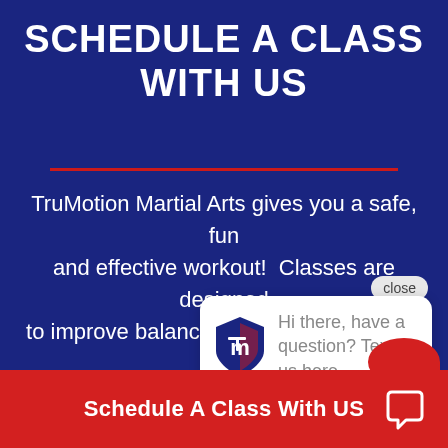SCHEDULE A CLASS WITH US
TruMotion Martial Arts gives you a safe, fun and effective workout!  Classes are designed to improve balance, flexibility, endurance and strength through a variety of exciting martial arts drills. You'll also learn useful self-defense techniques.
[Figure (other): Chat popup overlay showing TruMotion logo and text 'Hi there, have a question? Text us here.' with a close button]
Schedule A Class With US